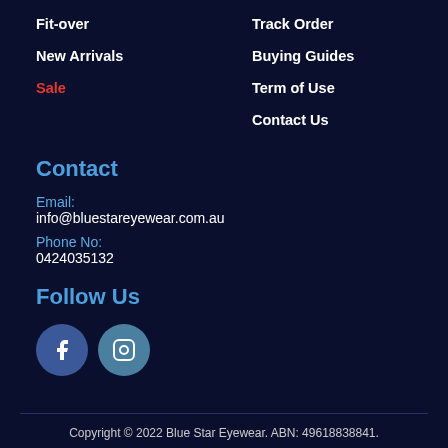Fit-over
New Arrivals
Sale
Track Order
Buying Guides
Term of Use
Contact Us
Contact
Email:
info@bluestareyewear.com.au
Phone No:
0424035132
Follow Us
[Figure (illustration): Facebook and Instagram social media icon buttons (circular)]
Copyright © 2022 Blue Star Eyewear. ABN: 49618838841.